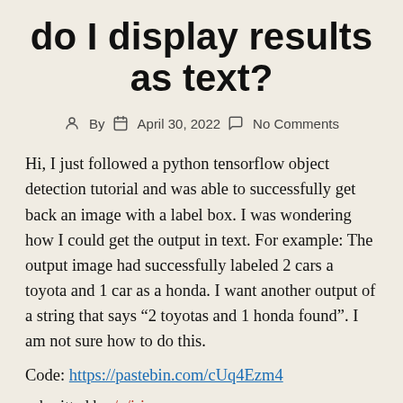do I display results as text?
By   April 30, 2022   No Comments
Hi, I just followed a python tensorflow object detection tutorial and was able to successfully get back an image with a label box. I was wondering how I could get the output in text. For example: The output image had successfully labeled 2 cars a toyota and 1 car as a honda. I want another output of a string that says “2 toyotas and 1 honda found”. I am not sure how to do this.
Code: https://pastebin.com/cUq4Ezm4
submitted by /u/irissnare